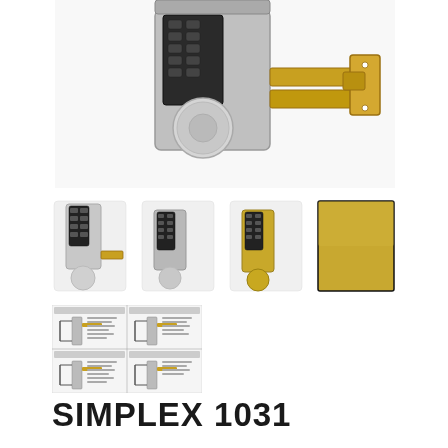[Figure (photo): Large close-up photo of a Simplex 1031 keypad deadbolt lock showing the satin chrome body with cylindrical knob and extended brass deadbolt latch]
[Figure (photo): Four smaller product images: (1) full view of lock in satin chrome with knob, (2) lock in aluminum/grey finish with knob, (3) lock in brass/gold finish with knob, (4) swatch of satin brass finish color]
[Figure (schematic): Four-panel installation/wiring diagram showing lock mounting configurations and instructions]
SIMPLEX 1031